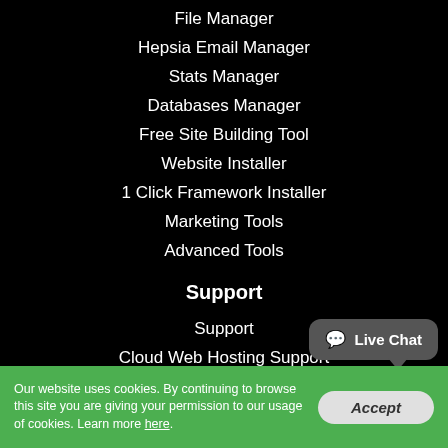File Manager
Hepsia Email Manager
Stats Manager
Databases Manager
Free Site Building Tool
Website Installer
1 Click Framework Installer
Marketing Tools
Advanced Tools
Support
Support
Cloud Web Hosting Support
VPS Hosting Support
Semi-dedicated Hosting Support
Dedicated Web Hosting Support
Dedicated Admin Service
Our website uses cookies. By continuing to browse this site you are giving your permission to our usage of cookies. Learn more here.